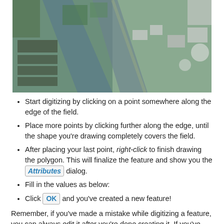[Figure (photo): Aerial satellite view of fields, roads, and buildings from above, showing rural/semi-urban landscape]
Start digitizing by clicking on a point somewhere along the edge of the field.
Place more points by clicking further along the edge, until the shape you're drawing completely covers the field.
After placing your last point, right-click to finish drawing the polygon. This will finalize the feature and show you the Attributes dialog.
Fill in the values as below:
Click OK and you've created a new feature!
Remember, if you've made a mistake while digitizing a feature, you can always edit it after you're done creating it. If you've made a mistake, continue digitizing until you're done creating the feature as above. Then:
Select the feature with the Select Single Feature tool: